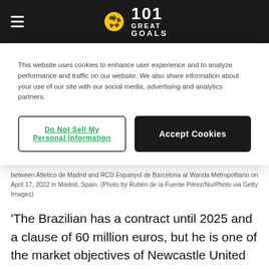101 Great Goals
This website uses cookies to enhance user experience and to analyze performance and traffic on our website. We also share information about your use of our site with our social media, advertising and analytics partners.
Do Not Sell My Personal Information
Accept Cookies
between Atletico de Madrid and RCD Espanyol de Barcelona at Wanda Metropolitano on April 17, 2022 in Madrid, Spain. (Photo by Rubén de la Fuente Pérez/NurPhoto via Getty Images)
'The Brazilian has a contract until 2025 and a clause of 60 million euros, but he is one of the market objectives of Newcastle United and Juventus', the report states.
Meanwhile, Newcastle will also have to convince the 24-year-old to give up European football, although the current Brazilian contingent at the club could help with that.